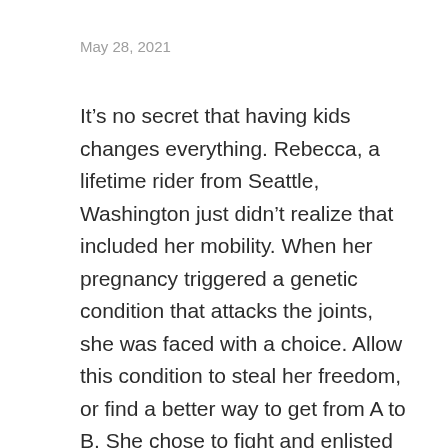May 28, 2021
It’s no secret that having kids changes everything. Rebecca, a lifetime rider from Seattle, Washington just didn’t realize that included her mobility. When her pregnancy triggered a genetic condition that attacks the joints, she was faced with a choice. Allow this condition to steal her freedom, or find a better way to get from A to B. She chose to fight and enlisted the Blix Sol for help. This is a story of a woman who changed the game and took her life back (minus the pain).